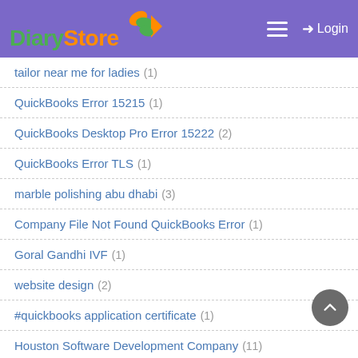Diary Store — Login
tailor near me for ladies (1)
QuickBooks Error 15215 (1)
QuickBooks Desktop Pro Error 15222 (2)
QuickBooks Error TLS (1)
marble polishing abu dhabi (3)
Company File Not Found QuickBooks Error (1)
Goral Gandhi IVF (1)
website design (2)
#quickbooks application certificate (1)
Houston Software Development Company (11)
cash app borrow not showing up (1)
Steven Wright (1)